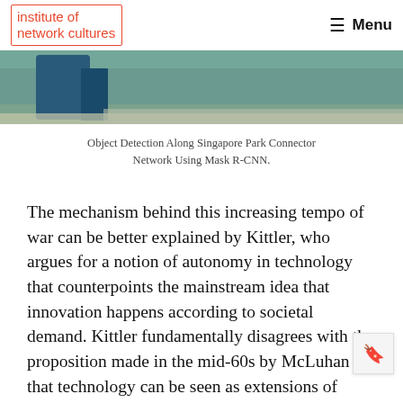institute of network cultures | Menu
[Figure (photo): Partial photo showing a blue object on a path/sidewalk with green surroundings, cropped at bottom of header area.]
Object Detection Along Singapore Park Connector Network Using Mask R-CNN.
The mechanism behind this increasing tempo of war can be better explained by Kittler, who argues for a notion of autonomy in technology that counterpoints the mainstream idea that innovation happens according to societal demand. Kittler fundamentally disagrees with the proposition made in the mid-60s by McLuhan that technology can be seen as extensions of men. In fact, he says that technical innovations follow the model of military